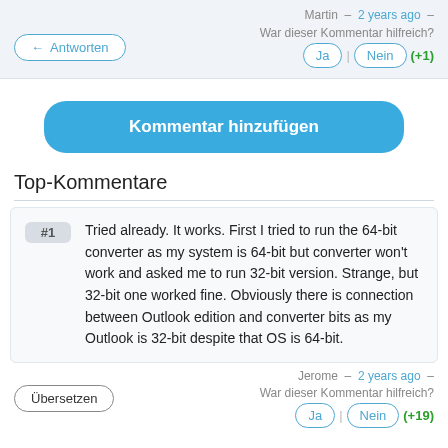Martin – 2 years ago –
War dieser Kommentar hilfreich?
Antworten
Ja | Nein (+1)
Kommentar hinzufügen
Top-Kommentare
#1  Tried already. It works. First I tried to run the 64-bit converter as my system is 64-bit but converter won't work and asked me to run 32-bit version. Strange, but 32-bit one worked fine. Obviously there is connection between Outlook edition and converter bits as my Outlook is 32-bit despite that OS is 64-bit.
Jerome – 2 years ago –
War dieser Kommentar hilfreich?
Übersetzen
Ja | Nein (+19)